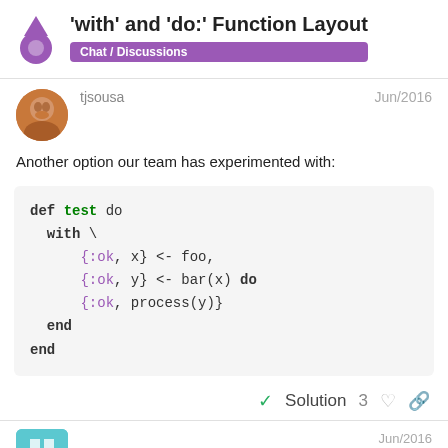'with' and 'do:' Function Layout | Chat / Discussions
tjsousa   Jun/2016
Another option our team has experimented with:
✓ Solution   3
mmport80   Jun/2016
2 / 8